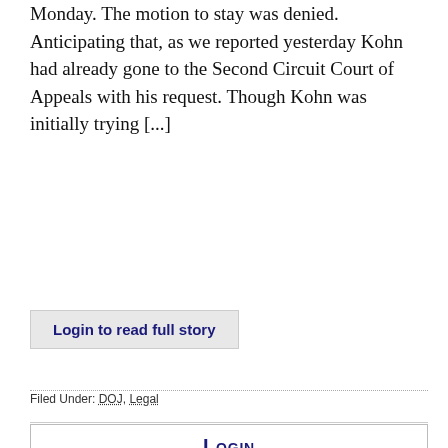Monday. The motion to stay was denied. Anticipating that, as we reported yesterday Kohn had already gone to the Second Circuit Court of Appeals with his request. Though Kohn was initially trying [...]
Login to read full story
Filed Under: DOJ, Legal
Login
User name:
Password: